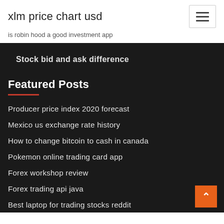xlm price chart usd
is robin hood a good investment app
Stock bid and ask difference
Featured Posts
Producer price index 2020 forecast
Mexico us exchange rate history
How to change bitcoin to cash in canada
Pokemon online trading card app
Forex workshop review
Forex trading api java
Best laptop for trading stocks reddit